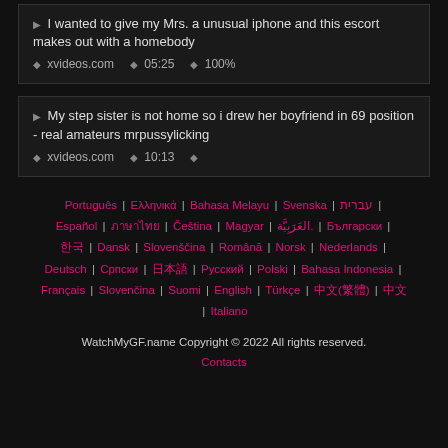I wanted to give my Mrs. a unusual iphone and this escort makes out with a homebody | xvideos.com | 05:25 | 100%
My step sister is not home so i drew her boyfriend in 69 position - real amateurs mrpussylicking | xvideos.com | 10:13
Português | Ελληνικά | Bahasa Melayu | Svenska | עברית | Español | ภาษาไทย | Čeština | Magyar | العَرَبِيَّة. | Български | 한국 | Dansk | Slovenščina | Română | Norsk | Nederlands | Deutsch | Српски | 日本語 | Русский | Polski | Bahasa Indonesia | Français | Slovenčina | Suomi | English | Türkçe | 中文(繁體) | 中文 | Italiano
WatchMyGF.name Copyright © 2022 All rights reserved. Contacts